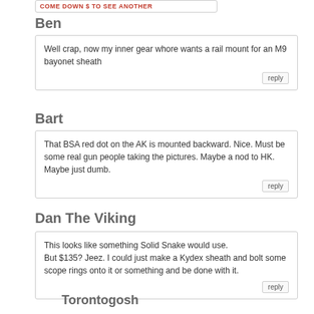COME DOWN $ TO SEE ANOTHER
Ben
Well crap, now my inner gear whore wants a rail mount for an M9 bayonet sheath
Bart
That BSA red dot on the AK is mounted backward. Nice. Must be some real gun people taking the pictures. Maybe a nod to HK. Maybe just dumb.
Dan The Viking
This looks like something Solid Snake would use.
But $135? Jeez. I could just make a Kydex sheath and bolt some scope rings onto it or something and be done with it.
Torontogosh